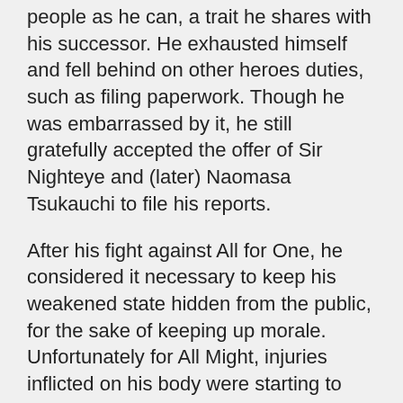people as he can, a trait he shares with his successor. He exhausted himself and fell behind on other heroes duties, such as filing paperwork. Though he was embarrassed by it, he still gratefully accepted the offer of Sir Nighteye and (later) Naomasa Tsukauchi to file his reports.
After his fight against All for One, he considered it necessary to keep his weakened state hidden from the public, for the sake of keeping up morale. Unfortunately for All Might, injuries inflicted on his body were starting to take a toll on him. Despite the concern and warnings from some of his close associates, All Might's determination to preserve society from evil prevented him from relinquishing his role as the Symbol of Peace. His smile, once a gesture that served to calm others, started becoming more of a way for All Might to hide his fears and insecurities from the general population. As time passed, All Might began to forget some of the basic principles of heroism, until Izuku,